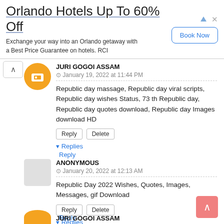[Figure (screenshot): Advertisement banner for Orlando Hotels Up To 60% Off with Book Now button]
JURI GOGOI ASSAM
January 19, 2022 at 11:44 PM
Republic day massage, Republic day viral scripts, Republic day wishes Status, 73 th Republic day, Republic day quotes download, Republic day Images download HD
ANONYMOUS
January 20, 2022 at 12:13 AM
Republic Day 2022 Wishes, Quotes, Images, Messages, gif Download
JURI GOGOI ASSAM